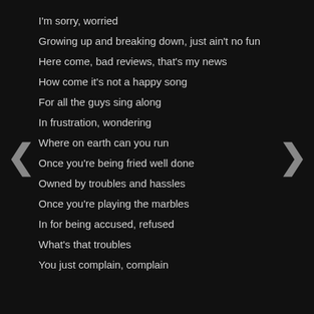I'm sorry, worried
Growing up and breaking down, just ain't no fun
Here come, bad reviews, that's my news
How come it's not a happy song
For all the guys sing along
In frustration, wondering
Where on earth can you run
Once you're being fried well done
Owned by troubles and hassles
Once you're playing the marbles
In for being accused, refused
What's that troubles
You just complain, complain